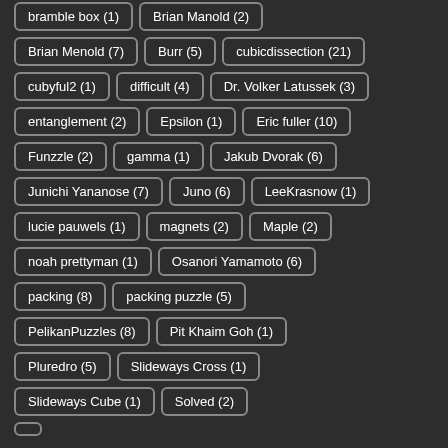bramble box (1)
Brian Manold (2)
Brian Menold (7)
Burr (5)
cubicdissection (21)
cubyful2 (1)
difficult (4)
Dr. Volker Latussek (3)
entanglement (2)
Epsilon (1)
Eric fuller (10)
Funzzle (2)
gamma (1)
Jakub Dvorak (6)
Junichi Yananose (7)
Juno (6)
LeeKrasnow (1)
lucie pauwels (1)
magnets (2)
Maple (2)
noah prettyman (1)
Osanori Yamamoto (6)
packing (8)
packing puzzle (5)
PelikanPuzzles (8)
Pit Khaim Goh (1)
Pluredro (5)
Slideways Cross (1)
Slideways Cube (1)
Solved (2)